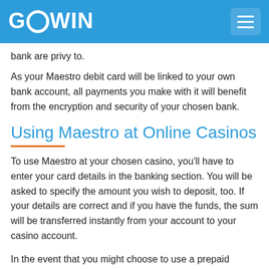GOWIN
bank are privy to.
As your Maestro debit card will be linked to your own bank account, all payments you make with it will benefit from the encryption and security of your chosen bank.
Using Maestro at Online Casinos
To use Maestro at your chosen casino, you'll have to enter your card details in the banking section. You will be asked to specify the amount you wish to deposit, too. If your details are correct and if you have the funds, the sum will be transferred instantly from your account to your casino account.
In the event that you might choose to use a prepaid Maestro card, you'll be depositing part of the credit you